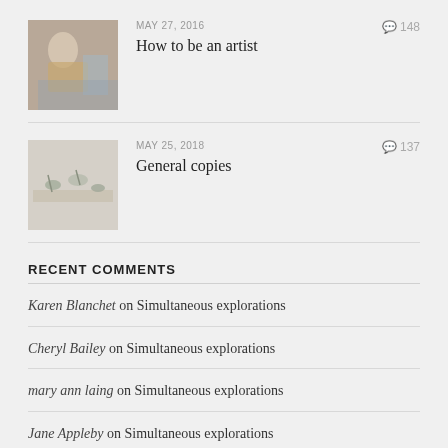[Figure (photo): Thumbnail photo of an artist working, wearing a floral/patterned garment]
MAY 27, 2016
148
How to be an artist
[Figure (photo): Thumbnail photo of art supplies or objects on a light surface]
MAY 25, 2018
137
General copies
RECENT COMMENTS
Karen Blanchet on Simultaneous explorations
Cheryl Bailey on Simultaneous explorations
mary ann laing on Simultaneous explorations
Jane Appleby on Simultaneous explorations
Rick Rotante on No time to paint